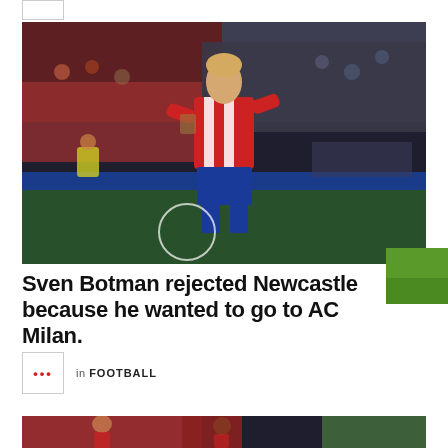[Figure (photo): Sven Botman in Atletico Madrid red and white striped kit, standing on the pitch clapping, with crowd in background]
Sven Botman rejected Newcastle because he wanted to go to AC Milan.
[Figure (logo): Small logo box with red dots]
in FOOTBALL
[Figure (photo): Partial photo at bottom of page — football players in red kit]